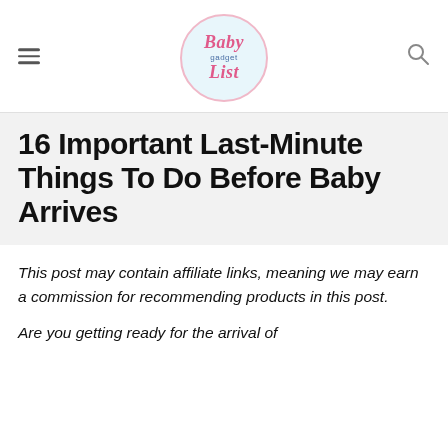Baby gadget List
16 Important Last-Minute Things To Do Before Baby Arrives
This post may contain affiliate links, meaning we may earn a commission for recommending products in this post.
Are you getting ready for the arrival of